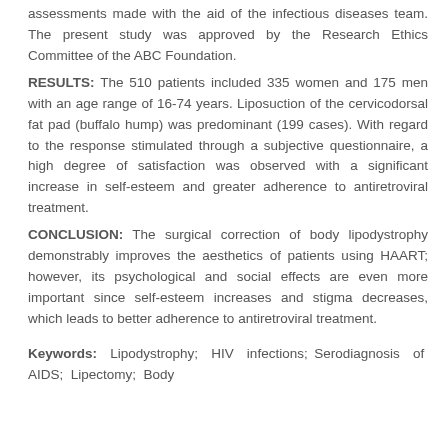assessments made with the aid of the infectious diseases team. The present study was approved by the Research Ethics Committee of the ABC Foundation.
RESULTS: The 510 patients included 335 women and 175 men with an age range of 16-74 years. Liposuction of the cervicodorsal fat pad (buffalo hump) was predominant (199 cases). With regard to the response stimulated through a subjective questionnaire, a high degree of satisfaction was observed with a significant increase in self-esteem and greater adherence to antiretroviral treatment.
CONCLUSION: The surgical correction of body lipodystrophy demonstrably improves the aesthetics of patients using HAART; however, its psychological and social effects are even more important since self-esteem increases and stigma decreases, which leads to better adherence to antiretroviral treatment.
Keywords: Lipodystrophy; HIV infections; Serodiagnosis of AIDS; Lipectomy; Body